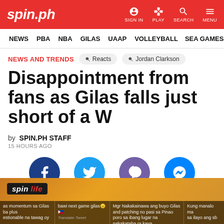spin.ph | SIGN IN | PLAY | SEARCH | MENU
NEWS | PBA | NBA | GILAS | UAAP | VOLLEYBALL | SEA GAMES
NEWS AND TRENDS
Reacts | Jordan Clarkson
Disappointment from fans as Gilas falls just short of a W
by SPIN.PH STAFF
15 HOURS AGO
[Figure (infographic): Social sharing buttons: Facebook (dark blue circle), Twitter (light blue circle), Viber (purple circle), Messenger (blue circle)]
[Figure (photo): Bottom strip showing 'spin life' logo on dark background with orange/golden tones, overlaid with social media comments about Gilas basketball game]